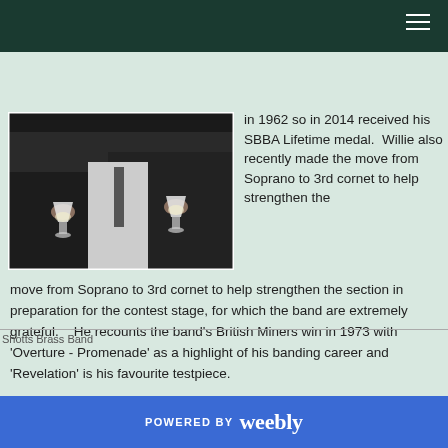[Figure (photo): Two people holding champagne glasses at what appears to be a social event, dressed formally.]
in 1962 so in 2014 received his SBBA Lifetime medal.  Willie also recently made the move from Soprano to 3rd cornet to help strengthen the section in preparation for the contest stage, for which the band are extremely grateful.    He recounts the band's British Miners win in 1973 with 'Overture - Promenade' as a highlight of his banding career and 'Revelation' is his favourite testpiece.
Shotts Brass Band
POWERED BY weebly